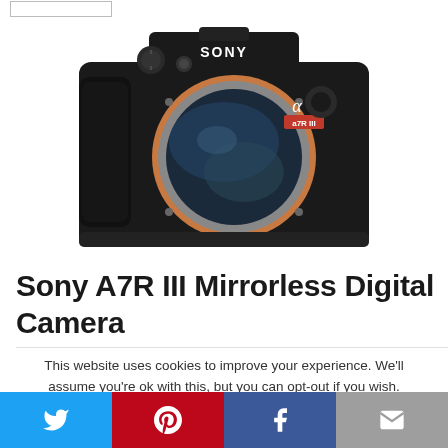[Figure (photo): Sony A7R III mirrorless digital camera body, front view, black with orange lens mount ring and exposed sensor, SONY branding on top.]
Sony A7R III Mirrorless Digital Camera
This website uses cookies to improve your experience. We'll assume you're ok with this, but you can opt-out if you wish.
[Figure (infographic): Social share bar with Twitter (blue), Pinterest (red), Facebook (dark blue), and Email (gray) buttons at the bottom of the page.]